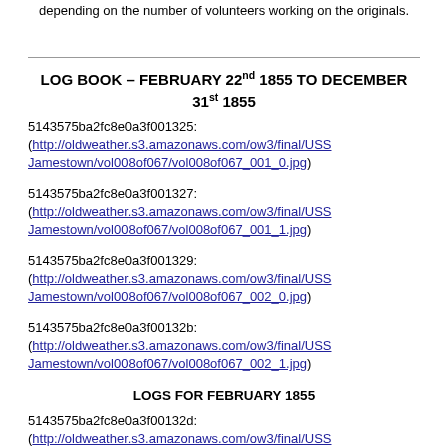depending on the number of volunteers working on the originals.
LOG BOOK – FEBRUARY 22nd 1855 TO DECEMBER 31st 1855
5143575ba2fc8e0a3f001325:
(http://oldweather.s3.amazonaws.com/ow3/final/USSJamestown/vol008of067/vol008of067_001_0.jpg)
5143575ba2fc8e0a3f001327:
(http://oldweather.s3.amazonaws.com/ow3/final/USSJamestown/vol008of067/vol008of067_001_1.jpg)
5143575ba2fc8e0a3f001329:
(http://oldweather.s3.amazonaws.com/ow3/final/USSJamestown/vol008of067/vol008of067_002_0.jpg)
5143575ba2fc8e0a3f00132b:
(http://oldweather.s3.amazonaws.com/ow3/final/USSJamestown/vol008of067/vol008of067_002_1.jpg)
LOGS FOR FEBRUARY 1855
5143575ba2fc8e0a3f00132d:
(http://oldweather.s3.amazonaws.com/ow3/final/USS Jamestown/vol008of067/vol008of067_003_0.jpg